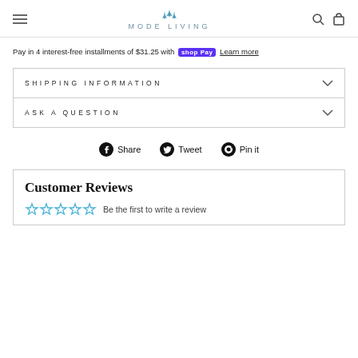MODE LIVING
Pay in 4 interest-free installments of $31.25 with shopPay Learn more
SHIPPING INFORMATION
ASK A QUESTION
Share  Tweet  Pin it
Customer Reviews
Be the first to write a review